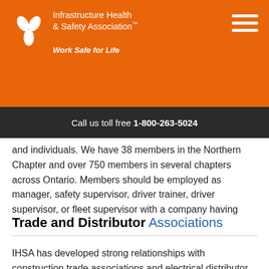Infrastructure Health & Safety Association™ Work Safe for Life
Call us toll free 1-800-263-5024
and individuals. We have 38 members in the Northern Chapter and over 750 members in several chapters across Ontario. Members should be employed as manager, safety supervisor, driver trainer, driver supervisor, or fleet supervisor with a company having commercial motor vehicles.
Trade and Distributor Associations
IHSA has developed strong relationships with construction trade associations and electrical distributor associations in the Northern region.